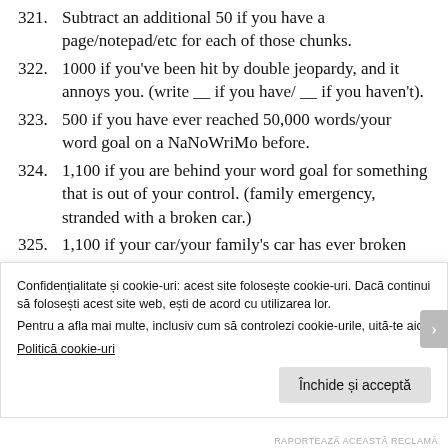321. Subtract an additional 50 if you have a page/notepad/etc for each of those chunks.
322. 1000 if you've been hit by double jeopardy, and it annoys you. (write __ if you have/ __ if you haven't).
323. 500 if you have ever reached 50,000 words/your word goal on a NaNoWriMo before.
324. 1,100 if you are behind your word goal for something that is out of your control. (family emergency, stranded with a broken car.)
325. 1,100 if your car/your family's car has ever broken down since NaNoWriMo began.
326. 1,100 if you have ever been scammed by someone on an online purchasing website, like craigslist or eBay.
Confidențialitate și cookie-uri: acest site folosește cookie-uri. Dacă continui să folosești acest site web, ești de acord cu utilizarea lor.
Pentru a afla mai multe, inclusiv cum să controlezi cookie-urile, uită-te aici:
Politică cookie-uri
Închide și acceptă